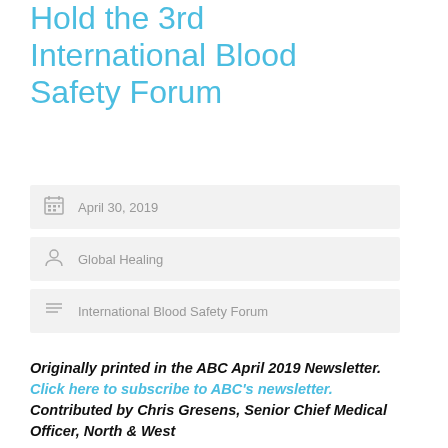Hold the 3rd International Blood Safety Forum
April 30, 2019
Global Healing
International Blood Safety Forum
Originally printed in the ABC April 2019 Newsletter. Click here to subscribe to ABC's newsletter. Contributed by Chris Gresens, Senior Chief Medical Officer, North & West